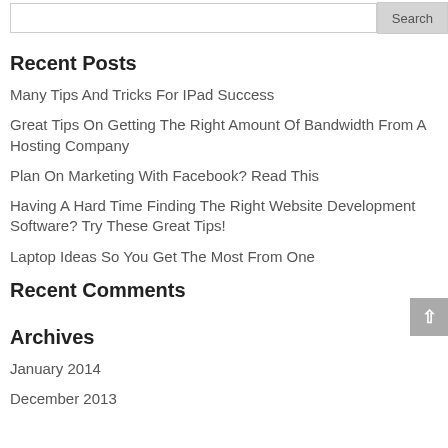Search
Recent Posts
Many Tips And Tricks For IPad Success
Great Tips On Getting The Right Amount Of Bandwidth From A Hosting Company
Plan On Marketing With Facebook? Read This
Having A Hard Time Finding The Right Website Development Software? Try These Great Tips!
Laptop Ideas So You Get The Most From One
Recent Comments
Archives
January 2014
December 2013